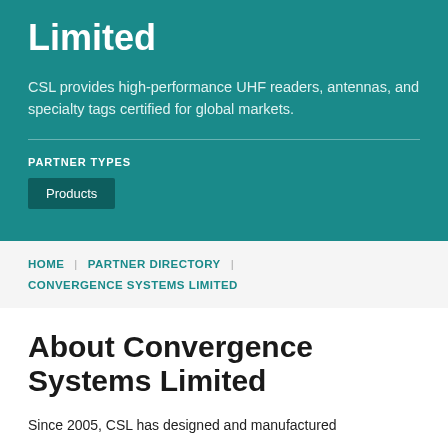Limited
CSL provides high-performance UHF readers, antennas, and specialty tags certified for global markets.
PARTNER TYPES
Products
HOME | PARTNER DIRECTORY | CONVERGENCE SYSTEMS LIMITED
About Convergence Systems Limited
Since 2005, CSL has designed and manufactured